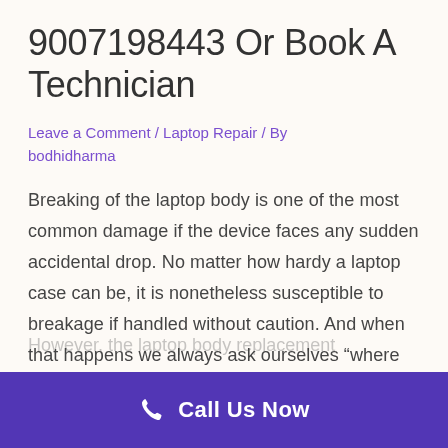9007198443 Or Book A Technician
Leave a Comment / Laptop Repair / By bodhidharma
Breaking of the laptop body is one of the most common damage if the device faces any sudden accidental drop. No matter how hardy a laptop case can be, it is nonetheless susceptible to breakage if handled without caution. And when that happens we always ask ourselves “where can I find Laptop Body Repair near me?”
However, the laptop body replacement...
Call Us Now